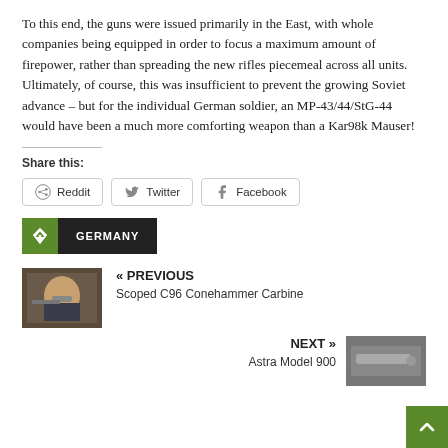To this end, the guns were issued primarily in the East, with whole companies being equipped in order to focus a maximum amount of firepower, rather than spreading the new rifles piecemeal across all units. Ultimately, of course, this was insufficient to prevent the growing Soviet advance – but for the individual German soldier, an MP-43/44/StG-44 would have been a much more comforting weapon than a Kar98k Mauser!
Share this:
Reddit
Twitter
Facebook
GERMANY
« PREVIOUS
Scoped C96 Conehammer Carbine
NEXT »
Astra Model 900